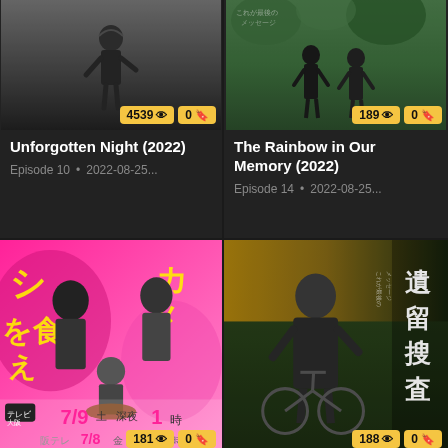[Figure (photo): TV show card: Unforgotten Night (2022) - grayscale image of person with headphones. Badge: 4539 views, 0 bookmarks.]
Unforgotten Night (2022)
Episode 10 • 2022-08-25...
[Figure (photo): TV show card: The Rainbow in Our Memory (2022) - two people standing outdoors with green trees. Badge: 189 views, 0 bookmarks.]
The Rainbow in Our Memory (2022)
Episode 14 • 2022-08-25...
[Figure (photo): TV show card: Japanese comedy show with colorful pink background, Japanese characters, actors with food, 7/9 date shown. Badge: 181 views, 0 bookmarks (partially visible).]
[Figure (photo): TV show card: Japanese drama 遺留搜査 (Legacy Investigation) - man in suit with bicycle, gold and green background. Badge: 188 views, 0 bookmarks (partially visible).]